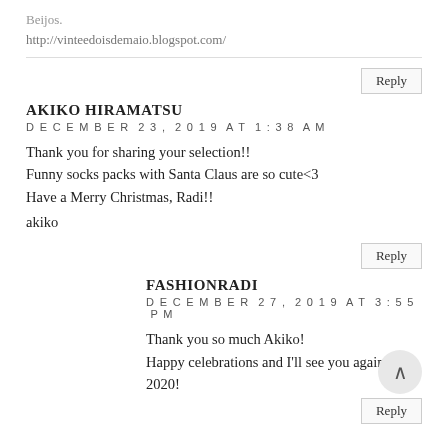Beijos.
http://vinteedoisdemaio.blogspot.com/
Reply
AKIKO HIRAMATSU
DECEMBER 23, 2019 AT 1:38 AM
Thank you for sharing your selection!!
Funny socks packs with Santa Claus are so cute<3
Have a Merry Christmas, Radi!!
akiko
Reply
FASHIONRADI
DECEMBER 27, 2019 AT 3:55 PM
Thank you so much Akiko!
Happy celebrations and I'll see you again in 2020!
Reply